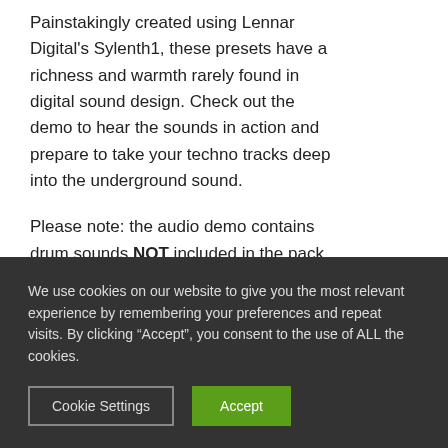Painstakingly created using Lennar Digital's Sylenth1, these presets have a richness and warmth rarely found in digital sound design. Check out the demo to hear the sounds in action and prepare to take your techno tracks deep into the underground sound.

Please note: the audio demo contains drum sounds NOT included in the pack. This pack contains Sylenth presets and
We use cookies on our website to give you the most relevant experience by remembering your preferences and repeat visits. By clicking “Accept”, you consent to the use of ALL the cookies.